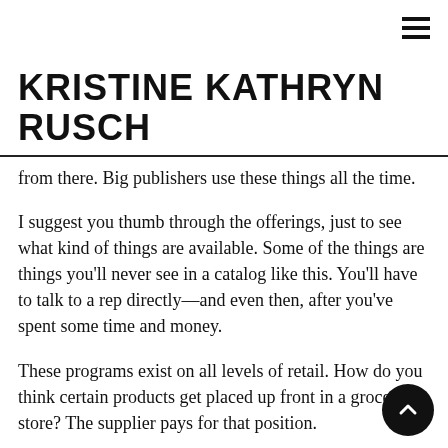≡
KRISTINE KATHRYN RUSCH
from there. Big publishers use these things all the time.
I suggest you thumb through the offerings, just to see what kind of things are available. Some of the things are things you'll never see in a catalog like this. You'll have to talk to a rep directly—and even then, after you've spent some time and money.
These programs exist on all levels of retail. How do you think certain products get placed up front in a grocery store? The supplier pays for that position.
When you're dealing with books, book distributors, and